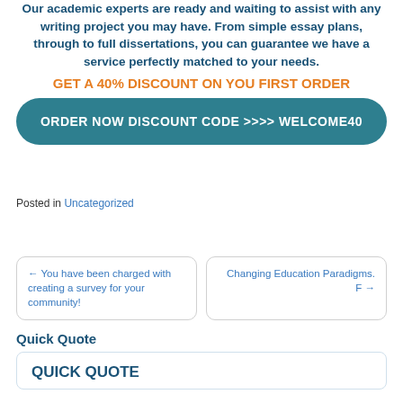Our academic experts are ready and waiting to assist with any writing project you may have. From simple essay plans, through to full dissertations, you can guarantee we have a service perfectly matched to your needs.
GET A 40% DISCOUNT ON YOU FIRST ORDER
ORDER NOW DISCOUNT CODE >>>> WELCOME40
Posted in Uncategorized
← You have been charged with creating a survey for your community!
Changing Education Paradigms. F →
Quick Quote
QUICK QUOTE